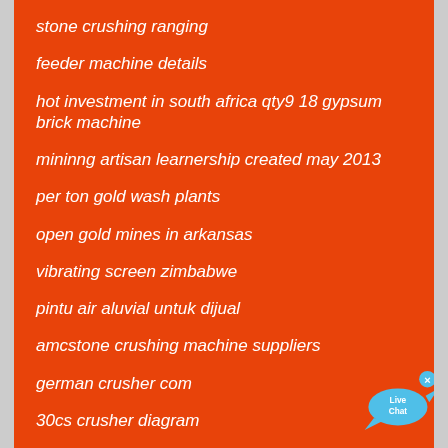stone crushing ranging
feeder machine details
hot investment in south africa qty9 18 gypsum brick machine
mininng artisan learnership created may 2013
per ton gold wash plants
open gold mines in arkansas
vibrating screen zimbabwe
pintu air aluvial untuk dijual
amcstone crushing machine suppliers
german crusher com
30cs crusher diagram
roller crusher manufacturers
[Figure (illustration): Live Chat button with blue speech bubble icon and close X]